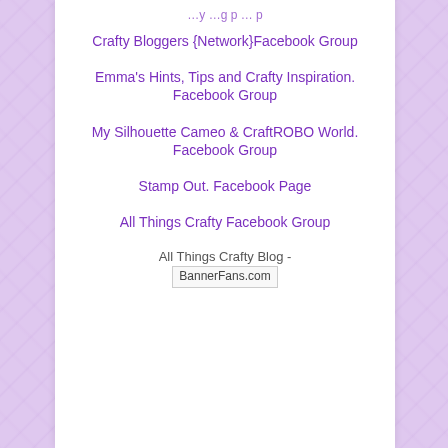Crafty Bloggers {Network}Facebook Group
Emma's Hints, Tips and Crafty Inspiration. Facebook Group
My Silhouette Cameo & CraftROBO World. Facebook Group
Stamp Out. Facebook Page
All Things Crafty Facebook Group
All Things Crafty Blog - BannerFans.com